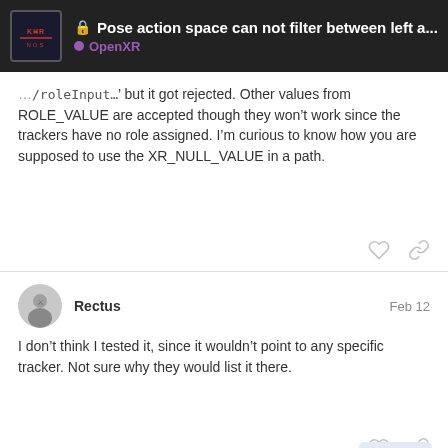Pose action space can not filter between left a... | OpenXR
...'/roleInput...' but it got rejected. Other values from ROLE_VALUE are accepted though they won't work since the trackers have no role assigned. I'm curious to know how you are supposed to use the XR_NULL_VALUE in a path.
Rectus  Feb 12
I don't think I tested it, since it wouldn't point to any specific tracker. Not sure why they would list it there.
Dragon  Junior Member  Feb 12
The xrEnumerateViveTrackerPathsHTCX ...